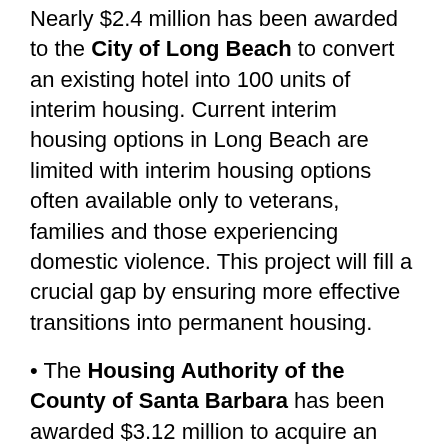Nearly $2.4 million has been awarded to the City of Long Beach to convert an existing hotel into 100 units of interim housing. Current interim housing options in Long Beach are limited with interim housing options often available only to veterans, families and those experiencing domestic violence. This project will fill a crucial gap by ensuring more effective transitions into permanent housing.
• The Housing Authority of the County of Santa Barbara has been awarded $3.12 million to acquire an office building to convert into permanent housing with wraparound services The Housing Authority has developed a comprehensive equity strategy to reach underserved populations, which includes